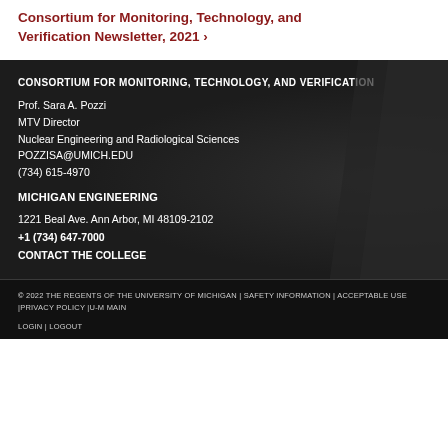Consortium for Monitoring, Technology, and Verification Newsletter, 2021 ›
CONSORTIUM FOR MONITORING, TECHNOLOGY, AND VERIFICATION
Prof. Sara A. Pozzi
MTV Director
Nuclear Engineering and Radiological Sciences
POZZISA@UMICH.EDU
(734) 615-4970
MICHIGAN ENGINEERING
1221 Beal Ave. Ann Arbor, MI 48109-2102
+1 (734) 647-7000
CONTACT THE COLLEGE
© 2022 THE REGENTS OF THE UNIVERSITY OF MICHIGAN | SAFETY INFORMATION | ACCEPTABLE USE |PRIVACY POLICY |U-M MAIN

LOGIN | LOGOUT